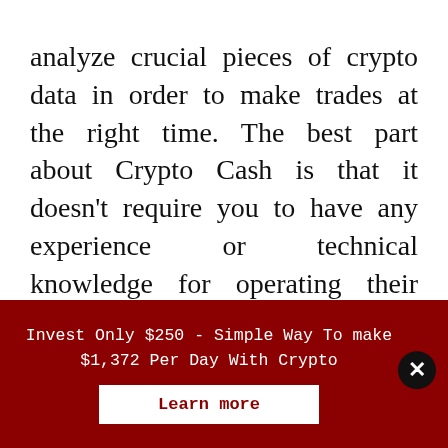analyze crucial pieces of crypto data in order to make trades at the right time. The best part about Crypto Cash is that it doesn't require you to have any experience or technical knowledge for operating their bot. The entire process is quite straightforward and you can get started very quickly. There are self-explanatory tutorials available with the software and they can help you take the necessary steps
Invest Only $250 - Simple Way To make $1,372 Per Day With Crypto
Learn more